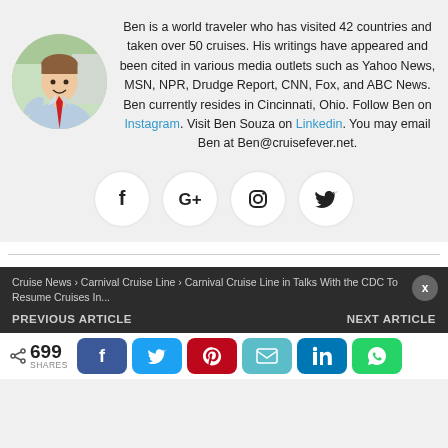[Figure (photo): Circular headshot photo of Ben Souza, a young man in a light blue shirt and red tie, smiling, outdoors with green background]
Ben is a world traveler who has visited 42 countries and taken over 50 cruises. His writings have appeared and been cited in various media outlets such as Yahoo News, MSN, NPR, Drudge Report, CNN, Fox, and ABC News. Ben currently resides in Cincinnati, Ohio. Follow Ben on Instagram. Visit Ben Souza on Linkedin. You may email Ben at Ben@cruisefever.net.
[Figure (infographic): Four social media icons in white circles: Facebook (f), Google+ (G+), Instagram (camera), Twitter (bird)]
Cruise News › Carnival Cruise Line › Carnival Cruise Line in Talks With the CDC To Resume Cruises In...
PREVIOUS ARTICLE    NEXT ARTICLE
< 699 SHARES